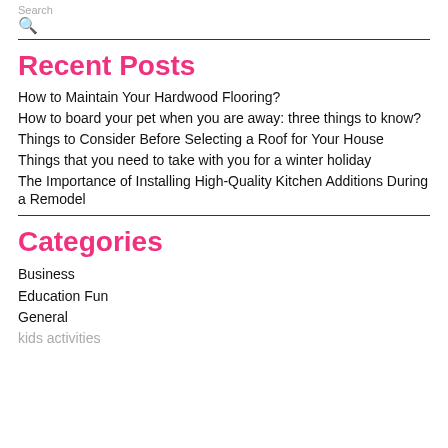Search
Recent Posts
How to Maintain Your Hardwood Flooring?
How to board your pet when you are away: three things to know?
Things to Consider Before Selecting a Roof for Your House
Things that you need to take with you for a winter holiday
The Importance of Installing High-Quality Kitchen Additions During a Remodel
Categories
Business
Education Fun
General
kids activities